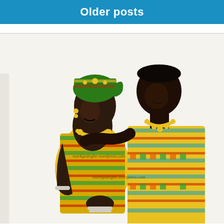Older posts
[Figure (photo): A couple dressed in traditional African (Kente) attire — a smiling woman in yellow/green kente cloth with headwrap and beaded jewelry, and a man in yellow kente cloth, both leaning towards each other affectionately. Watermarks read 'markgadogbe.wordpress.com'.]